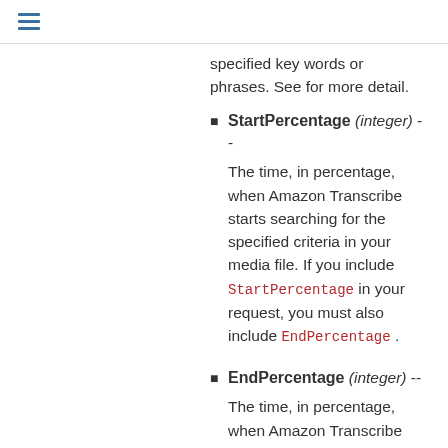☰
specified key words or phrases. See for more detail.
StartPercentage (integer) -- The time, in percentage, when Amazon Transcribe starts searching for the specified criteria in your media file. If you include StartPercentage in your request, you must also include EndPercentage .
EndPercentage (integer) -- The time, in percentage, when Amazon Transcribe stops searching for the specified criteria in your